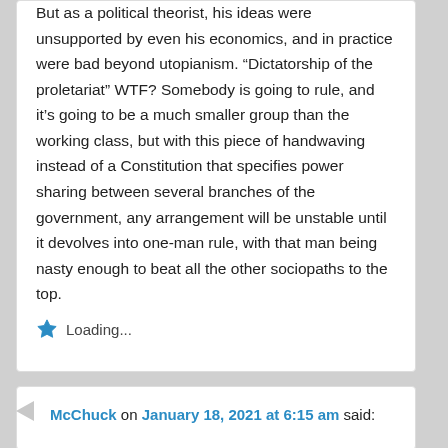But as a political theorist, his ideas were unsupported by even his economics, and in practice were bad beyond utopianism. “Dictatorship of the proletariat” WTF? Somebody is going to rule, and it’s going to be a much smaller group than the working class, but with this piece of handwaving instead of a Constitution that specifies power sharing between several branches of the government, any arrangement will be unstable until it devolves into one-man rule, with that man being nasty enough to beat all the other sociopaths to the top.
Loading...
McChuck on January 18, 2021 at 6:15 am said: